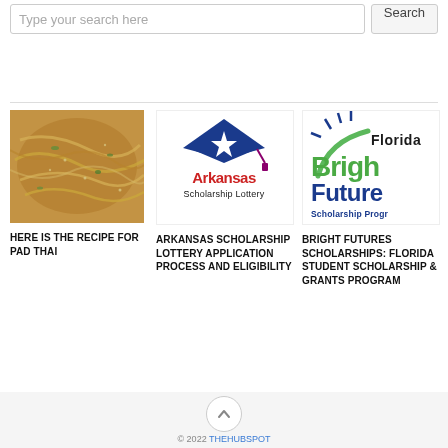Type your search here [Search button]
[Figure (photo): Close-up photo of Pad Thai noodles dish]
HERE IS THE RECIPE FOR PAD THAI
[Figure (logo): Arkansas Scholarship Lottery logo - blue diamond shape with white star and graduation cap, red Arkansas text below, black Scholarship Lottery text]
ARKANSAS SCHOLARSHIP LOTTERY APPLICATION PROCESS AND ELIGIBILITY
[Figure (logo): Florida Bright Futures Scholarship Program logo - partial view showing green Bright Futures text and blue Scholarship Program text]
BRIGHT FUTURES SCHOLARSHIPS: FLORIDA STUDENT SCHOLARSHIP & GRANTS PROGRAM
© 2022 THEHUBSPOT